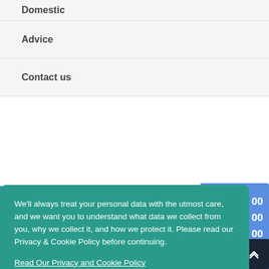Domestic
Advice
Contact us
We'll always treat your personal data with the utmost care, and we want you to understand what data we collect from you, why we collect it, and how we protect it. Please read our Privacy & Cookie Policy before continuing.
Read Our Privacy and Cookie Policy
Decline
Accept